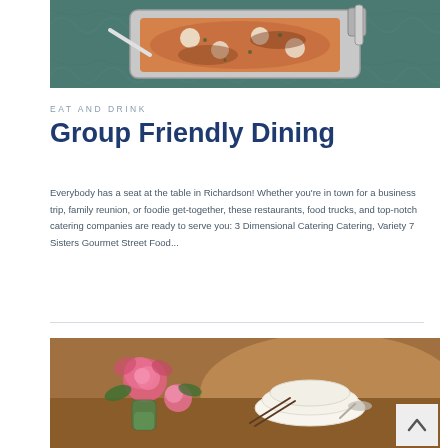[Figure (photo): A buffet chafing dish with food (appears to be a seafood or meat dish with vegetables), photographed from above on a dark green marble surface.]
EAT AND DRINK
Group Friendly Dining
Everybody has a seat at the table in Richardson! Whether you're in town for a business trip, family reunion, or foodie get-together, these restaurants, food trucks, and top-notch catering companies are ready to serve you: 3 Dimensional Catering Catering, Variety 7 Sisters Gourmet Street Food...
[Figure (photo): A restaurant table setting with a pink rose flower arrangement in a glass vase, stacked white bowls and plates, and chopsticks — warm ambient lighting.]